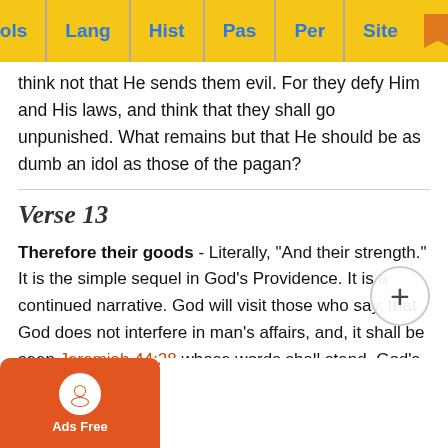Tools | Lang | Hist | Pas | Per | Site
think not that He sends them evil. For they defy Him and His laws, and think that they shall go unpunished. What remains but that He should be as dumb an idol as those of the pagan?
Verse 13
Therefore their goods - Literally, "And their strength." It is the simple sequel in God’s Providence. It is a continued narrative. God will visit those who say, that God does not interfere in man’s affairs, and, it shall be seen Jeremiah 44:28 whose words shall stand, God’s or their’s. All which God had threatened in the law shall be fulfilled. God, in the fulfillment of the punishment, which He had foretold in Leviticus 26:32-33; Deuteronomy 28:0, would vindicate not only His present Providence, but His continual govern…an, shall t…sume